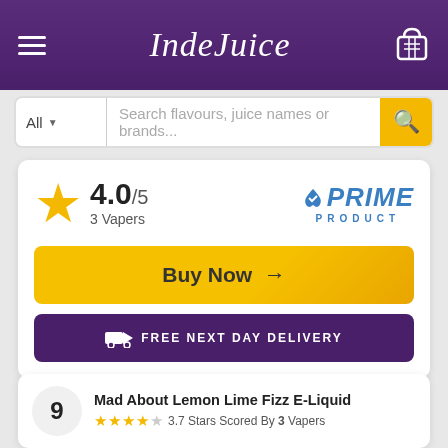[Figure (screenshot): IndeJuice website header with hamburger menu, logo, and basket icon on purple gradient background]
Search flavours, juice names or brands...
4.0/5
3 Vapers
[Figure (logo): PRIME PRODUCT badge in blue]
Buy Now →
FREE NEXT DAY DELIVERY
9
Mad About Lemon Lime Fizz E-Liquid
3.7 Stars Scored By 3 Vapers